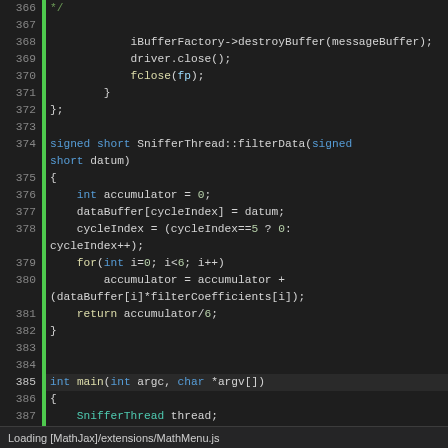[Figure (screenshot): Code editor screenshot showing C++ source code lines 366-394, with syntax highlighting. Dark background IDE view with green gutter indicators and line numbers. A status bar at the bottom shows 'Loading [MathJax]/extensions/MathMenu.js'.]